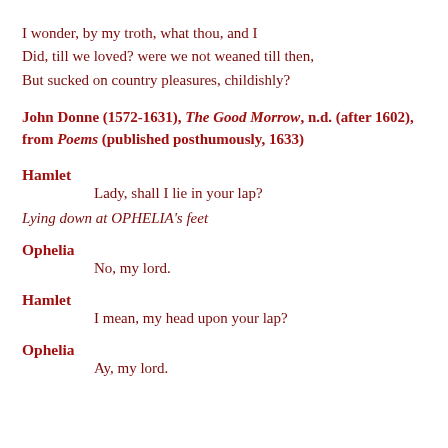I wonder, by my troth, what thou, and I
Did, till we loved? were we not weaned till then,
But sucked on country pleasures, childishly?
John Donne (1572-1631), The Good Morrow, n.d. (after 1602), from Poems (published posthumously, 1633)
Hamlet
	Lady, shall I lie in your lap?
Lying down at OPHELIA's feet
Ophelia
	No, my lord.
Hamlet
	I mean, my head upon your lap?
Ophelia
	Ay, my lord.